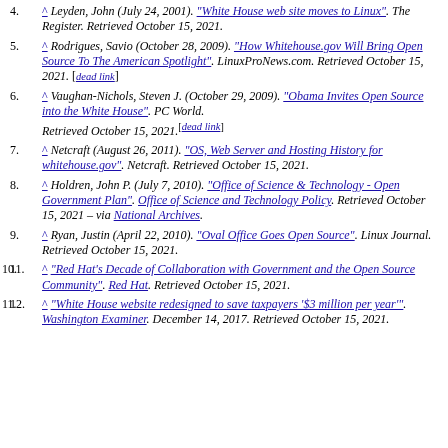4. ^ Leyden, John (July 24, 2001). "White House web site moves to Linux". The Register. Retrieved October 15, 2021.
5. ^ Rodrigues, Savio (October 28, 2009). "How Whitehouse.gov Will Bring Open Source To The American Spotlight". LinuxProNews.com. Retrieved October 15, 2021. [dead link]
6. ^ Vaughan-Nichols, Steven J. (October 29, 2009). "Obama Invites Open Source into the White House". PC World. Retrieved October 15, 2021. [dead link]
7. ^ Netcraft (August 26, 2011). "OS, Web Server and Hosting History for whitehouse.gov". Netcraft. Retrieved October 15, 2021.
8. ^ Holdren, John P. (July 7, 2010). "Office of Science & Technology - Open Government Plan". Office of Science and Technology Policy. Retrieved October 15, 2021 – via National Archives.
9. ^ Ryan, Justin (April 22, 2010). "Oval Office Goes Open Source". Linux Journal. Retrieved October 15, 2021.
10. ^ "Red Hat's Decade of Collaboration with Government and the Open Source Community". Red Hat. Retrieved October 15, 2021.
11. ^ "White House website redesigned to save taxpayers '$3 million per year'". Washington Examiner. December 14, 2017. Retrieved October 15, 2021.